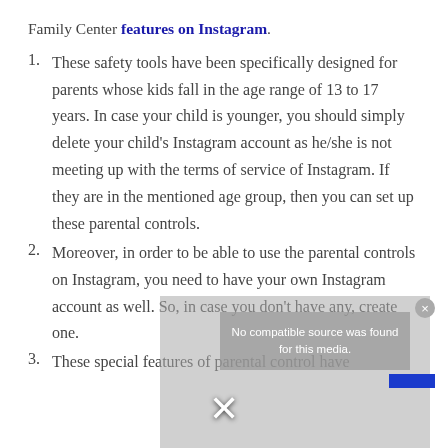Family Center features on Instagram.
These safety tools have been specifically designed for parents whose kids fall in the age range of 13 to 17 years. In case your child is younger, you should simply delete your child’s Instagram account as he/she is not meeting up with the terms of service of Instagram. If they are in the mentioned age group, then you can set up these parental controls.
Moreover, in order to be able to use the parental controls on Instagram, you need to have your own Instagram account as well. So, in case you don’t have any, create one.
These special features of parental control have